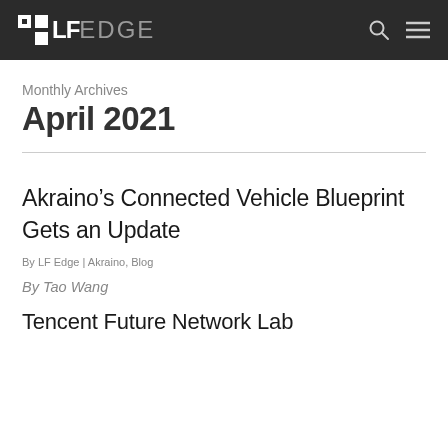LF EDGE
Monthly Archives
April 2021
Akraino’s Connected Vehicle Blueprint Gets an Update
By LF Edge | Akraino, Blog
By Tao Wang
Tencent Future Network Lab